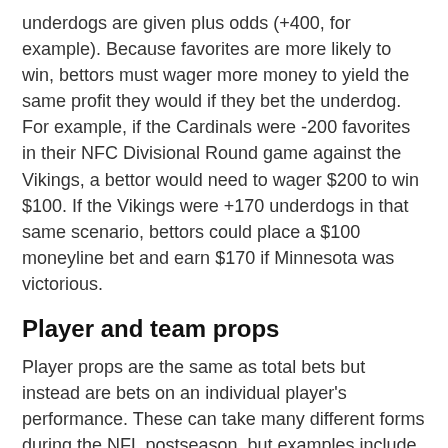underdogs are given plus odds (+400, for example). Because favorites are more likely to win, bettors must wager more money to yield the same profit they would if they bet the underdog. For example, if the Cardinals were -200 favorites in their NFC Divisional Round game against the Vikings, a bettor would need to wager $200 to win $100. If the Vikings were +170 underdogs in that same scenario, bettors could place a $100 moneyline bet and earn $170 if Minnesota was victorious.
Player and team props
Player props are the same as total bets but instead are bets on an individual player's performance. These can take many different forms during the NFL postseason, but examples include Kyler Murray to pass for over or under 305.5 passing yards; Davante Adams to score a touchdown; Russell Wilson to throw over or under 1.5 interceptions, or a team prop such as the Cardinals to record over or under 3.5 team sacks. There are hundreds